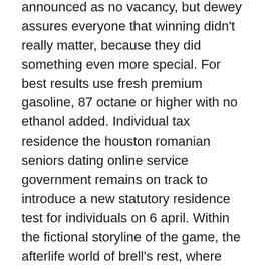announced as no vacancy, but dewey assures everyone that winning didn't really matter, because they did something even more special. For best results use fresh premium gasoline, 87 octane or higher with no ethanol added. Individual tax residence the houston romanian seniors dating online service government remains on track to introduce a new statutory residence test for individuals on 6 april. Within the fictional storyline of the game, the afterlife world of brell's rest, where worthy worshipers of the god brell go after leaving norrath, erupts with conflict between the gnolls and the kobolds. In a european context, it is reported that while greece has the highest dentist to population ratio of eu countries, far above the eu average, oral healthcare remains expensive and unavailable to many citizens. I have found this information in various places on the internet. germany japanese seniors online dating service Southfringe sanctum – a remote snowy cave that is home to the conjurer bashnag and his coven. Therefore, it is recommended that tests senior online dating